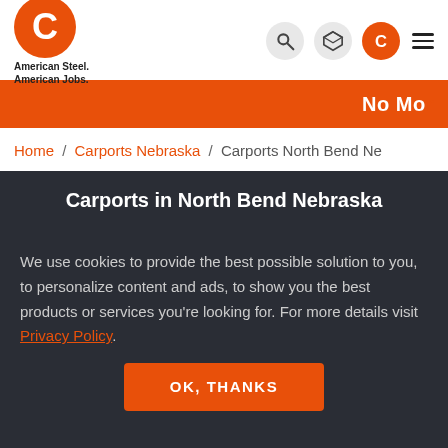[Figure (logo): American Steel Carports logo - orange circle with white C letter, with text 'American Steel. American Jobs.' below]
No Mo
Home / Carports Nebraska / Carports North Bend Ne
Carports in North Bend Nebraska
We use cookies to provide the best possible solution to you, to personalize content and ads, to show you the best products or services you're looking for. For more details visit Privacy Policy.
OK, THANKS
(980) 223-3547